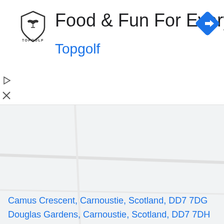[Figure (logo): Topgolf shield logo with bird and TOPGOLF text below]
Food & Fun For Everyone
[Figure (other): Blue diamond navigation turn-right arrow button]
Topgolf
[Figure (other): Play triangle button icon]
[Figure (other): Close X button icon]
[Figure (other): Collapse chevron up tab panel]
[Figure (map): Google Maps interface showing light gray map area]
Camus Crescent, Carnoustie, Scotland, DD7 7DG
Douglas Gardens, Carnoustie, Scotland, DD7 7DH